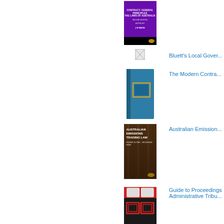[Figure (photo): Book cover: Contract General Principles - The Laws of Australia, Second Edition, purple and black cover]
[Figure (photo): Small placeholder image for Bluett's Local Government]
Bluett's Local Gover...
[Figure (photo): Book cover: The Modern Contract - blue binder/book]
The Modern Contra...
[Figure (photo): Book cover: Australian Emissions Trading Law, forest/trees cover]
Australian Emission...
[Figure (photo): Book cover: Guide to Proceedings Administrative Tribunal, red and white cover]
Guide to Proceedings Administrative Tribu...